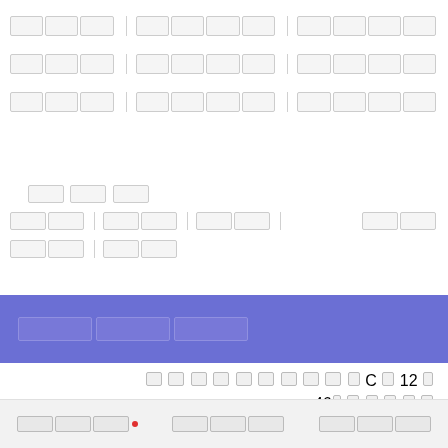| ██████ | ███████ | ███████ |
| ██████ | ███████ | ███████ |
| ██████ | ███████ | ███████ |
████
| ████ | ████ | ████ |  | ████ |
| ████ | ████ |
███████
██████████████C█12█
46█ █████████
████ • ████ • ████